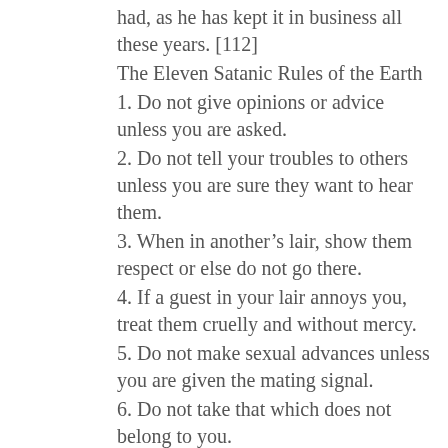had, as he has kept it in business all these years. [112]
The Eleven Satanic Rules of the Earth
1. Do not give opinions or advice unless you are asked.
2. Do not tell your troubles to others unless you are sure they want to hear them.
3. When in another’s lair, show them respect or else do not go there.
4. If a guest in your lair annoys you, treat them cruelly and without mercy.
5. Do not make sexual advances unless you are given the mating signal.
6. Do not take that which does not belong to you.